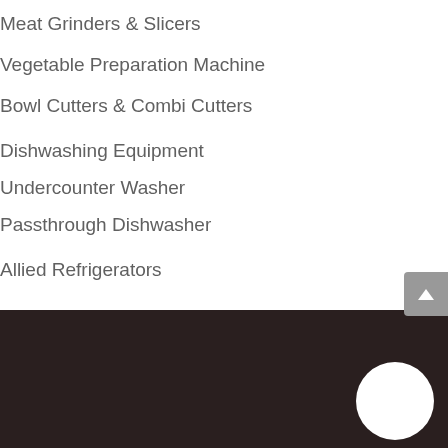Meat Grinders & Slicers
Vegetable Preparation Machine
Bowl Cutters & Combi Cutters
Dishwashing Equipment
Undercounter Washer
Passthrough Dishwasher
Allied Refrigerators